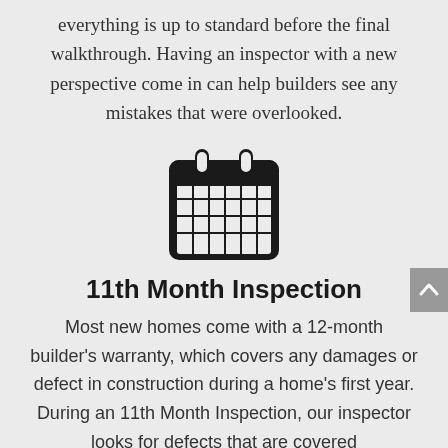everything is up to standard before the final walkthrough. Having an inspector with a new perspective come in can help builders see any mistakes that were overlooked.
[Figure (illustration): Black calendar icon with grid of squares representing days]
11th Month Inspection
Most new homes come with a 12-month builder's warranty, which covers any damages or defect in construction during a home's first year. During an 11th Month Inspection, our inspector looks for defects that are covered